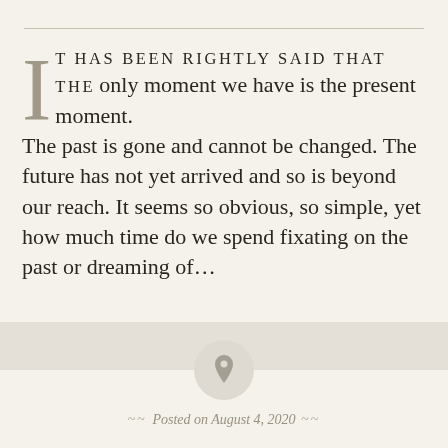IT HAS BEEN RIGHTLY SAID THAT THE only moment we have is the present moment. The past is gone and cannot be changed. The future has not yet arrived and so is beyond our reach. It seems so obvious, so simple, yet how much time do we spend fixating on the past or dreaming of...
[Figure (illustration): A circular grey button/icon containing a pin/pushpin symbol]
~ Posted on August 4, 2020 ~